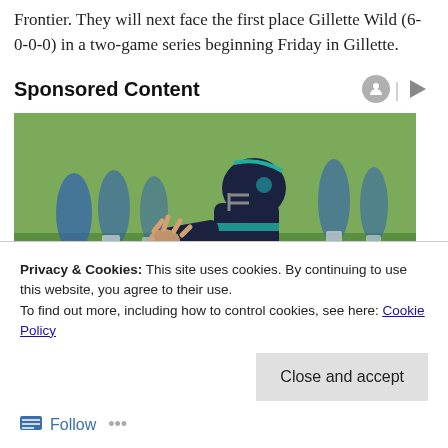Frontier. They will next face the first place Gillette Wild (6-0-0-0) in a two-game series beginning Friday in Gillette.
Sponsored Content
[Figure (photo): Youth football player in dark navy uniform reaching to catch a football, with other players in blue and white uniforms blurred in the background on a grass field.]
Privacy & Cookies: This site uses cookies. By continuing to use this website, you agree to their use.
To find out more, including how to control cookies, see here: Cookie Policy
Close and accept
Follow